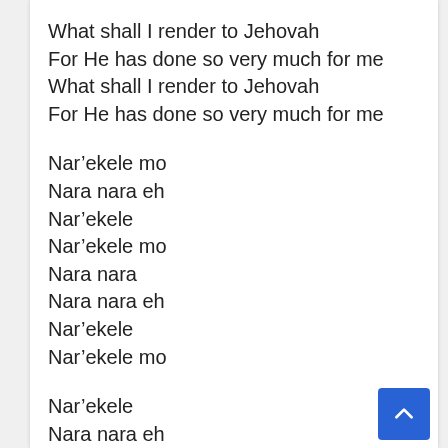What shall I render to Jehovah
For He has done so very much for me
What shall I render to Jehovah
For He has done so very much for me
Nar’ekele mo
Nara nara eh
Nar’ekele
Nar’ekele mo
Nara nara
Nara nara eh
Nar’ekele
Nar’ekele mo
Nar’ekele
Nara nara eh
Nar’ekele